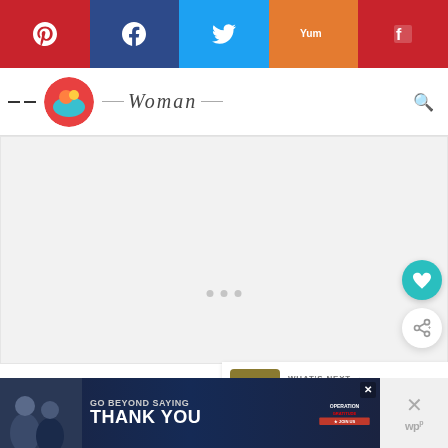[Figure (screenshot): Social media share bar with Pinterest, Facebook, Twitter, Yummly, and Flipboard buttons]
Woman (logo/site header with circular logo and cursive 'Woman' text)
[Figure (other): Large blank/loading content area (light gray rectangle)]
[Figure (other): Three gray dots loading indicator]
[Figure (other): Teal heart favorite button (floating action button)]
[Figure (other): White share button (floating action button)]
[Figure (other): What's Next card with thumbnail and text 'Smoked Salmon...']
[Figure (other): Operation Gratitude advertisement banner: 'Go Beyond Saying Thank You' with Join Us button and close X]